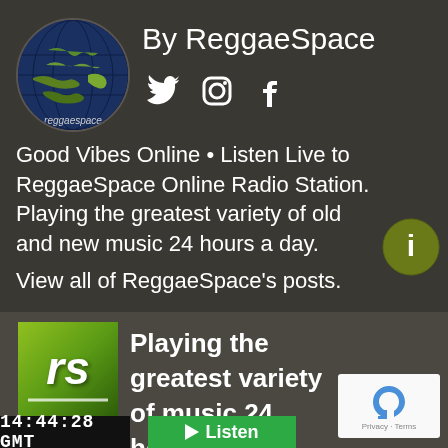[Figure (logo): ReggaeSpace globe logo with world map, circular, with 'reggaespace' text at bottom]
By ReggaeSpace
[Figure (infographic): Twitter, Instagram, and Facebook social media icons in white]
Good Vibes Online • Listen Live to ReggaeSpace Online Radio Station. Playing the greatest variety of old and new music 24 hours a day.
[Figure (infographic): Info button - circular olive/green colored button with 'i' icon]
View all of ReggaeSpace's posts.
[Figure (logo): ReggaeSpace 'rs' logo in green gradient square]
Playing the greatest variety of music 24 hours a day.
[Figure (infographic): reCAPTCHA widget with blue recycling icon and 'Privacy - Terms' text]
14:44:28  GMT
Listen